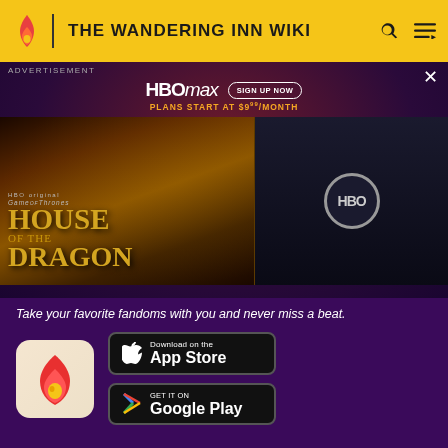THE WANDERING INN WIKI
[Figure (screenshot): HBO Max advertisement banner showing House of the Dragon promotional imagery with signup button and plans starting at $9.99/month]
Take your favorite fandoms with you and never miss a beat.
[Figure (logo): Fandom app icon - red flame with gold heart on cream background]
[Figure (screenshot): Download on the App Store button]
[Figure (screenshot): Get it on Google Play button]
The Wandering Inn Wiki is a FANDOM Books Community.
VIEW FULL SITE